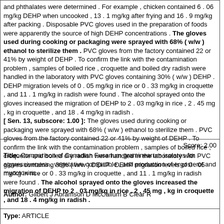and phthalates were determined . For example , chicken contained 6 . 06 mg/kg DEHP when uncooked , 13 . 1 mg/kg after frying and 16 . 9 mg/kg after packing . Disposable PVC gloves used in the preparation of foods were apparently the source of high DEHP concentrations . The gloves used during cooking or packaging were sprayed with 68% ( w/w ) ethanol to sterilize them . PVC gloves from the factory contained 22 or 41% by weight of DEHP . To confirm the link with the contamination problem , samples of boiled rice , croquette and boiled dry radish were handled in the laboratory with PVC gloves containing 30% ( w/w ) DEHP . DEHP migration levels of 0 . 05 mg/kg in rice or 0 . 33 mg/kg in croquette , and 11 . 1 mg/kg in radish were found . The alcohol sprayed onto the gloves increased the migration of DEHP to 2 . 03 mg/kg in rice , 2 . 45 mg , kg in croquette , and 18 . 4 mg/kg in radish . [ Sen. 13, subscore: 1.00 ]: The gloves used during cooking or packaging were sprayed with 68% ( w/w ) ethanol to sterilize them . PVC gloves from the factory contained 22 or 41% by weight of DEHP . To confirm the link with the contamination problem , samples of boiled rice , croquette and boiled dry radish were handled in the laboratory with PVC gloves containing 30% ( w/w ) DEHP . DEHP migration levels of 0 . 05 mg/kg in rice or 0 . 33 mg/kg in croquette , and 11 . 1 mg/kg in radish were found . The alcohol sprayed onto the gloves increased the migration of DEHP to 2 . 03 mg/kg in rice , 2 . 45 mg , kg in croquette , and 18 . 4 mg/kg in radish .
Score: 2.00
Title: Comparison of Canadian Fusarium graminearum isolates for aggressiveness , vegetative compatible , and production of ergosterol and mycotoxins .
Author: Gilbert J Abramson D McCallum B Clear R
Type: ARTICLE